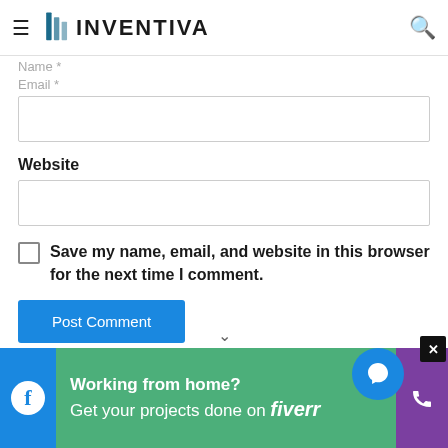INVENTIVA
Name *
Email *
Website
Save my name, email, and website in this browser for the next time I comment.
Post Comment
[Figure (screenshot): Advertisement banner: Working from home? Get your projects done on fiverr]